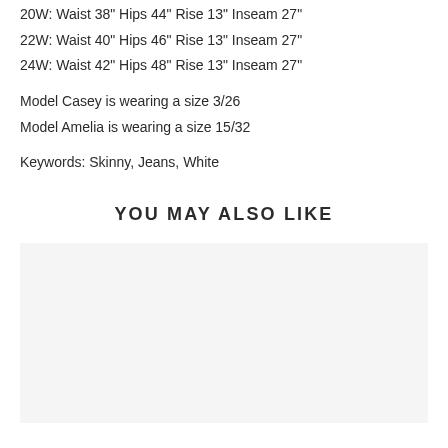20W: Waist 38" Hips 44" Rise 13" Inseam 27"
22W: Waist 40" Hips 46" Rise 13" Inseam 27"
24W: Waist 42" Hips 48" Rise 13" Inseam 27"
Model Casey is wearing a size 3/26
Model Amelia is wearing a size 15/32
Keywords: Skinny, Jeans, White
YOU MAY ALSO LIKE
[Figure (other): Product image placeholder area (blank/white rectangle)]